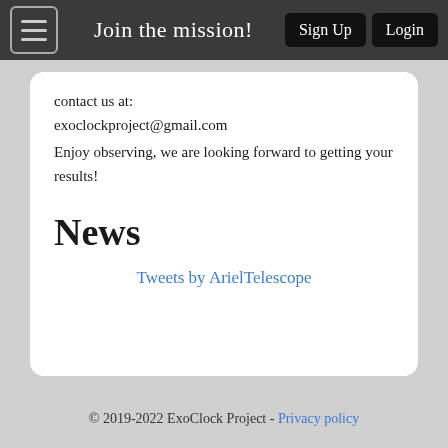Join the mission! Sign Up Login
contact us at:
exoclockproject@gmail.com
Enjoy observing, we are looking forward to getting your results!
News
Tweets by ArielTelescope
© 2019-2022 ExoClock Project - Privacy policy